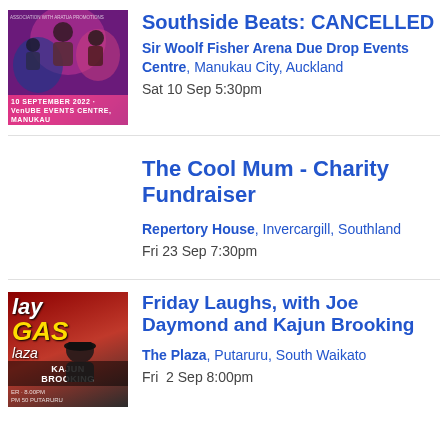[Figure (photo): Southside Beats event poster with performers and pink/purple background]
Southside Beats: CANCELLED
Sir Woolf Fisher Arena Due Drop Events Centre, Manukau City, Auckland
Sat 10 Sep 5:30pm
The Cool Mum - Charity Fundraiser
Repertory House, Invercargill, Southland
Fri 23 Sep 7:30pm
[Figure (photo): Friday Laughs event poster with comedian Kajun Brooking against red background with Las Vegas Plaza branding]
Friday Laughs, with Joe Daymond and Kajun Brooking
The Plaza, Putaruru, South Waikato
Fri  2 Sep 8:00pm